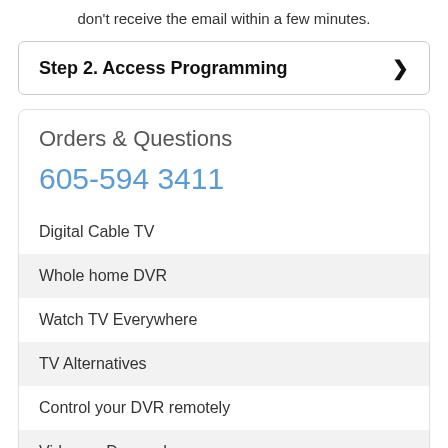don't receive the email within a few minutes.
Step 2. Access Programming
Orders & Questions
605-594 3411
Digital Cable TV
Whole home DVR
Watch TV Everywhere
TV Alternatives
Control your DVR remotely
Video on Demand